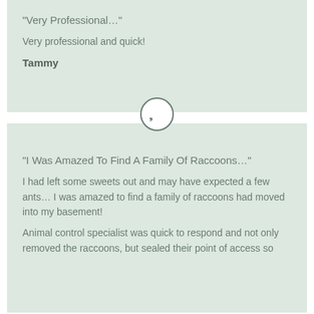“Very Professional…”
Very professional and quick!
Tammy
[Figure (illustration): Circular quote icon with double closing quotation marks, grey outlined circle on white background]
“I Was Amazed To Find A Family Of Raccoons…”
I had left some sweets out and may have expected a few ants… I was amazed to find a family of raccoons had moved into my basement!
Animal control specialist was quick to respond and not only removed the raccoons, but sealed their point of access so